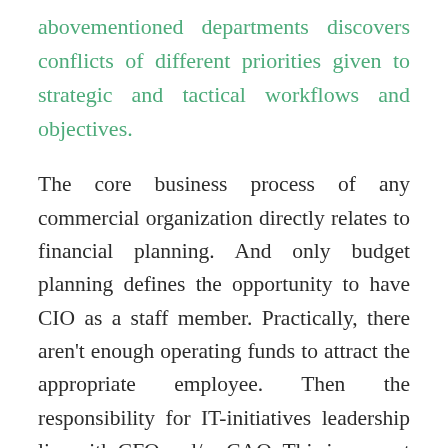abovementioned departments discovers conflicts of different priorities given to strategic and tactical workflows and objectives.
The core business process of any commercial organization directly relates to financial planning. And only budget planning defines the opportunity to have CIO as a staff member. Practically, there aren't enough operating funds to attract the appropriate employee. Then the responsibility for IT-initiatives leadership lies with CFO and/or CAO. This is a smart business development solution as long as its administration introduction begins with